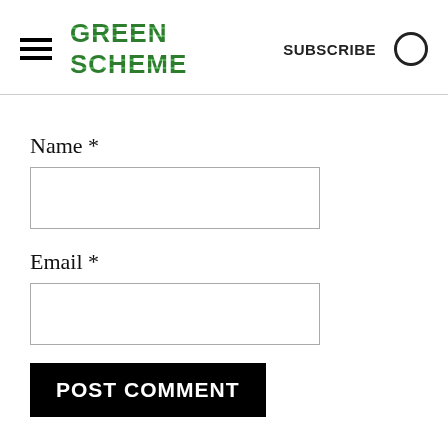GREEN SCHEME  SUBSCRIBE
Name *
Email *
POST COMMENT
Here, you will find delicious and nutritious seasonal eats — including